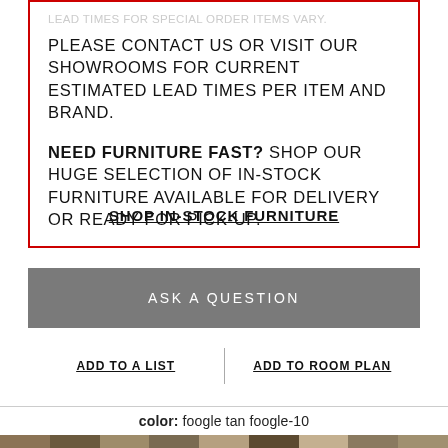LEAD TIMES FOR SPECIAL ORDER ITEMS VARY. PLEASE CONTACT US OR VISIT OUR SHOWROOMS FOR CURRENT ESTIMATED LEAD TIMES PER ITEM AND BRAND.
NEED FURNITURE FAST? SHOP OUR HUGE SELECTION OF IN-STOCK FURNITURE AVAILABLE FOR DELIVERY OR READY FOR PICK-UP.
SHOP IN-STOCK FURNITURE
ASK A QUESTION
ADD TO A LIST
ADD TO ROOM PLAN
color: foogle tan foogle-10